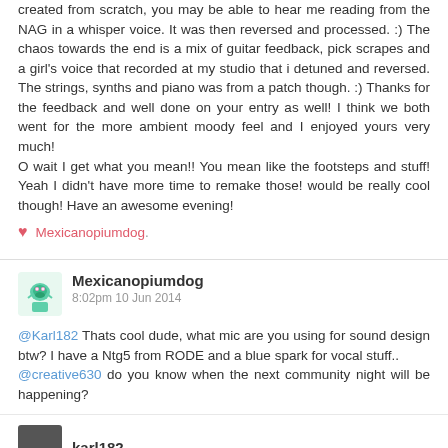created from scratch, you may be able to hear me reading from the NAG in a whisper voice. It was then reversed and processed. :) The chaos towards the end is a mix of guitar feedback, pick scrapes and a girl's voice that recorded at my studio that i detuned and reversed. The strings, synths and piano was from a patch though. :) Thanks for the feedback and well done on your entry as well! I think we both went for the more ambient moody feel and I enjoyed yours very much!
O wait I get what you mean!! You mean like the footsteps and stuff! Yeah I didn't have more time to remake those! would be really cool though! Have an awesome evening!
♥ Mexicanopiumdog.
Mexicanopiumdog
8:02pm 10 Jun 2014
@Karl182 Thats cool dude, what mic are you using for sound design btw? I have a Ntg5 from RODE and a blue spark for vocal stuff..
@creative630 do you know when the next community night will be happening?
karl182